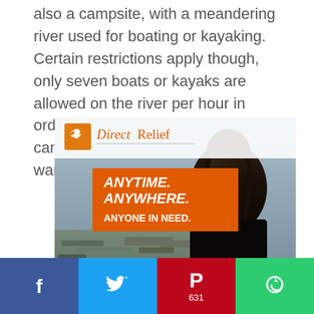also a campsite, with a meandering river used for boating or kayaking. Certain restrictions apply though, only seven boats or kayaks are allowed on the river per hour in order to preserve the river life. You can also check out some old cold-war bunkers which are interesting.
[Figure (photo): Direct Relief advertisement showing a person from behind looking at disaster debris, with the Direct Relief logo and tagline 'ANYTIME. ANYWHERE. ANYONE IN NEED.' on an orange banner]
Social sharing bar with Facebook, Twitter, Pinterest (631), and More share buttons